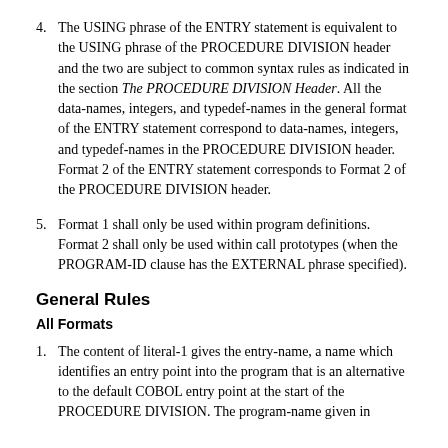4. The USING phrase of the ENTRY statement is equivalent to the USING phrase of the PROCEDURE DIVISION header and the two are subject to common syntax rules as indicated in the section The PROCEDURE DIVISION Header. All the data-names, integers, and typedef-names in the general format of the ENTRY statement correspond to data-names, integers, and typedef-names in the PROCEDURE DIVISION header. Format 2 of the ENTRY statement corresponds to Format 2 of the PROCEDURE DIVISION header.
5. Format 1 shall only be used within program definitions. Format 2 shall only be used within call prototypes (when the PROGRAM-ID clause has the EXTERNAL phrase specified).
General Rules
All Formats
1. The content of literal-1 gives the entry-name, a name which identifies an entry point into the program that is an alternative to the default COBOL entry point at the start of the PROCEDURE DIVISION. The program-name given in